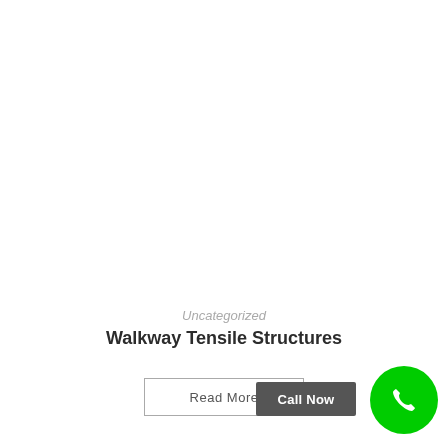Uncategorized
Walkway Tensile Structures
Read More
Call Now